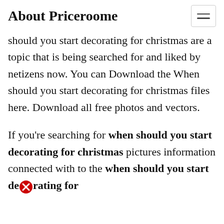About Priceroome
should you start decorating for christmas are a topic that is being searched for and liked by netizens now. You can Download the When should you start decorating for christmas files here. Download all free photos and vectors.
If you're searching for when should you start decorating for christmas pictures information connected with to the when should you start decorating for